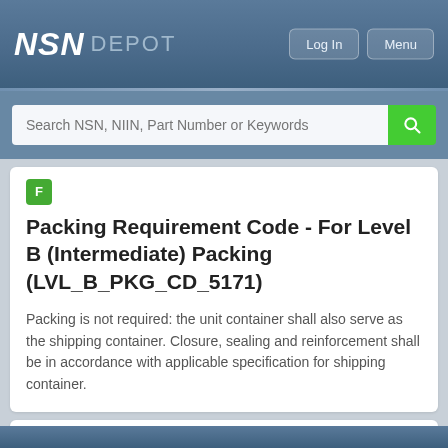NSN DEPOT
Packing Requirement Code - For Level B (Intermediate) Packing (LVL_B_PKG_CD_5171)
Packing is not required: the unit container shall also serve as the shipping container. Closure, sealing and reinforcement shall be in accordance with applicable specification for shipping container.
Packing Requirement Code - For